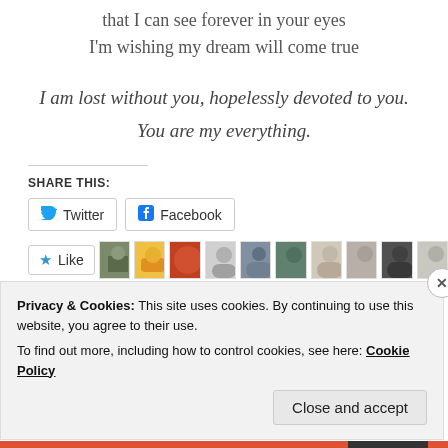that I can see forever in your eyes
I'm wishing my dream will come true
I am lost without you, hopelessly devoted to you. You are my everything.
SHARE THIS:
[Figure (screenshot): Twitter and Facebook share buttons]
[Figure (screenshot): Like button with user avatar thumbnails]
Privacy & Cookies: This site uses cookies. By continuing to use this website, you agree to their use. To find out more, including how to control cookies, see here: Cookie Policy
Close and accept